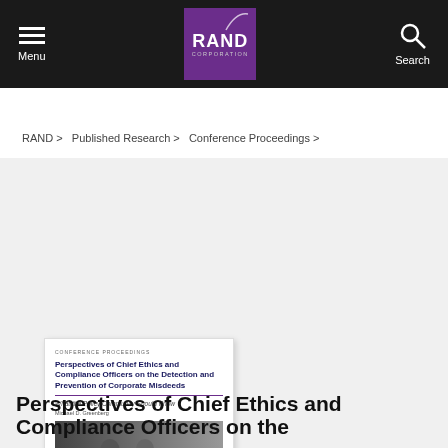Menu | RAND Corporation | Search
OBJECTIVE ANALYSIS. EFFECTIVE SOLUTIONS.
RAND > Published Research > Conference Proceedings >
[Figure (illustration): Book cover for 'Perspectives of Chief Ethics and Compliance Officers on the Detection and Prevention of Corporate Misdeeds: What the Policy Community Should Know' published by RAND Corporation as Conference Proceedings]
Perspectives of Chief Ethics and Compliance Officers on the